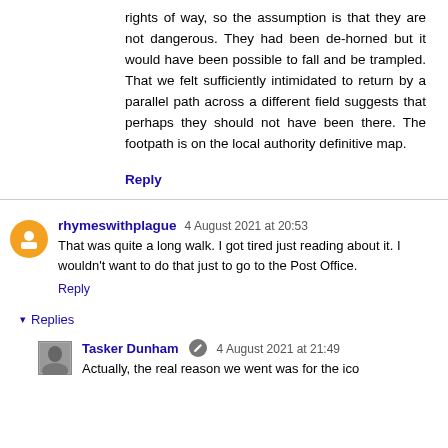rights of way, so the assumption is that they are not dangerous. They had been de-horned but it would have been possible to fall and be trampled. That we felt sufficiently intimidated to return by a parallel path across a different field suggests that perhaps they should not have been there. The footpath is on the local authority definitive map.
Reply
rhymeswithplague  4 August 2021 at 20:53
That was quite a long walk. I got tired just reading about it. I wouldn't want to do that just to go to the Post Office.
Reply
Replies
Tasker Dunham  4 August 2021 at 21:49
Actually, the real reason we went was for the ico